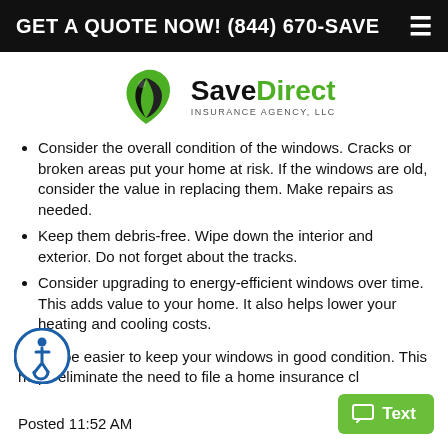GET A QUOTE NOW! (844) 670-SAVE
[Figure (logo): SaveDirect Insurance Agency, LLC logo with green and black shield/droplet icon]
Consider the overall condition of the windows. Cracks or broken areas put your home at risk. If the windows are old, consider the value in replacing them. Make repairs as needed.
Keep them debris-free. Wipe down the interior and exterior. Do not forget about the tracks.
Consider upgrading to energy-efficient windows over time. This adds value to your home. It also helps lower your heating and cooling costs.
It may be easier to keep your windows in good condition. This helps eliminate the need to file a home insurance cl
Posted 11:52 AM